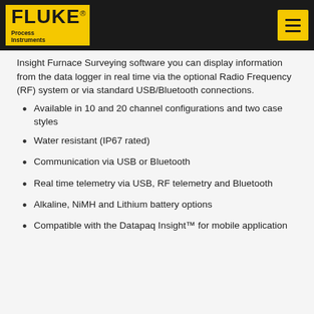Fluke Process Instruments
Insight Furnace Surveying software you can display information from the data logger in real time via the optional Radio Frequency (RF) system or via standard USB/Bluetooth connections.
Available in 10 and 20 channel configurations and two case styles
Water resistant (IP67 rated)
Communication via USB or Bluetooth
Real time telemetry via USB, RF telemetry and Bluetooth
Alkaline, NiMH and Lithium battery options
Compatible with the Datapaq Insight™ for mobile application